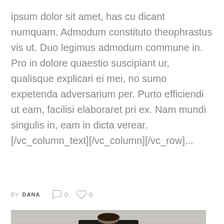ipsum dolor sit amet, has cu dicant numquam. Admodum constituto theophrastus vis ut. Duo legimus admodum commune in. Pro in dolore quaestio suscipiant ur, qualisque explicari ei mei, no sumo expetenda adversarium per. Purto efficiendi ut eam, facilisi elaboraret pri ex. Nam mundi singulis in, eam in dicta verear. [/vc_column_text][/vc_column][/vc_row]...
BY DANA  ○ 0  ♡ 0
[Figure (photo): Person holding up a dark movie poster that reads AMOUR in large white bold letters. The person's face is hidden behind the poster. Background is light gray horizontal lines.]